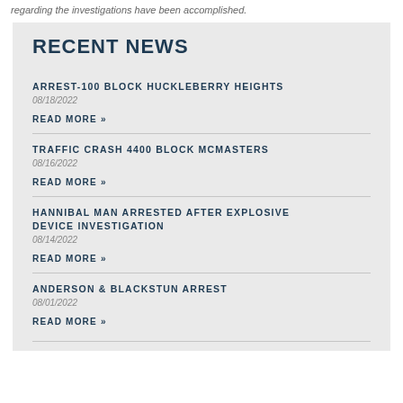regarding the investigations have been accomplished.
RECENT NEWS
ARREST-100 BLOCK HUCKLEBERRY HEIGHTS
08/18/2022
READ MORE »
TRAFFIC CRASH 4400 BLOCK MCMASTERS
08/16/2022
READ MORE »
HANNIBAL MAN ARRESTED AFTER EXPLOSIVE DEVICE INVESTIGATION
08/14/2022
READ MORE »
ANDERSON & BLACKSTUN ARREST
08/01/2022
READ MORE »